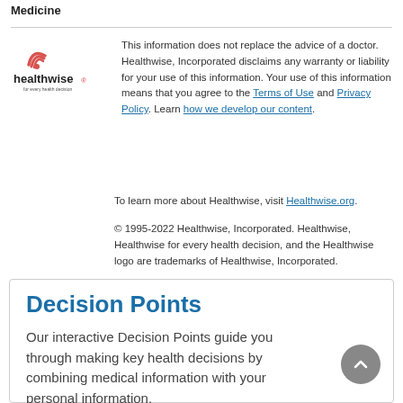Medicine
[Figure (logo): Healthwise logo with red circular icon and tagline 'for every health decision']
This information does not replace the advice of a doctor. Healthwise, Incorporated disclaims any warranty or liability for your use of this information. Your use of this information means that you agree to the Terms of Use and Privacy Policy. Learn how we develop our content.
To learn more about Healthwise, visit Healthwise.org.
© 1995-2022 Healthwise, Incorporated. Healthwise, Healthwise for every health decision, and the Healthwise logo are trademarks of Healthwise, Incorporated.
Decision Points
Our interactive Decision Points guide you through making key health decisions by combining medical information with your personal information.